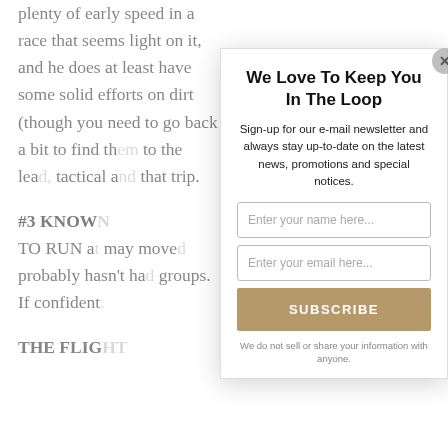plenty of early speed in a race that seems light on it, and he does at least have some solid efforts on dirt (though you need to go back a bit to find th... to the lea... tactical a... that trip.
#3 KNOW... TO RUN a... may move... probably... hasn't ha... groups. If... confident...
THE FLIG...
We Love To Keep You In The Loop
Sign-up for our e-mail newsletter and always stay up-to-date on the latest news, promotions and special notices.
Enter your name here...
Enter your email here...
SUBSCRIBE
We do not sell or share your information with anyone.